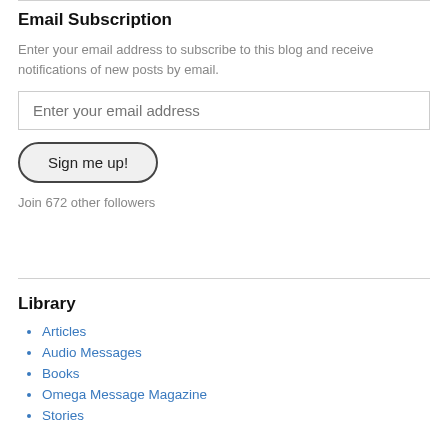Email Subscription
Enter your email address to subscribe to this blog and receive notifications of new posts by email.
Enter your email address
Sign me up!
Join 672 other followers
Library
Articles
Audio Messages
Books
Omega Message Magazine
Stories